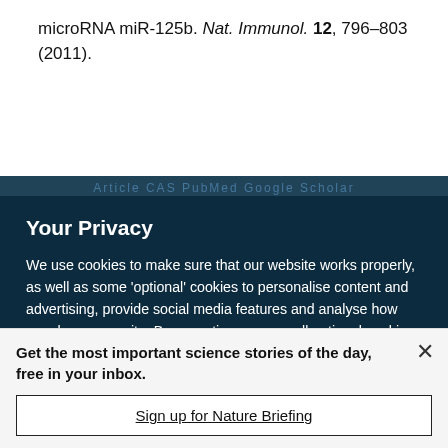microRNA miR-125b. Nat. Immunol. 12, 796–803 (2011).
Your Privacy
We use cookies to make sure that our website works properly, as well as some 'optional' cookies to personalise content and advertising, provide social media features and analyse how people use our site. By accepting some or all optional cookies you give consent to the processing of your personal data, including transfer to third parties, some in countries outside of the European Economic Area that do not offer the same data protection standards as the country where you live. You can decide which optional cookies to accept by clicking on 'Manage Settings', where you can
Get the most important science stories of the day, free in your inbox.
Sign up for Nature Briefing